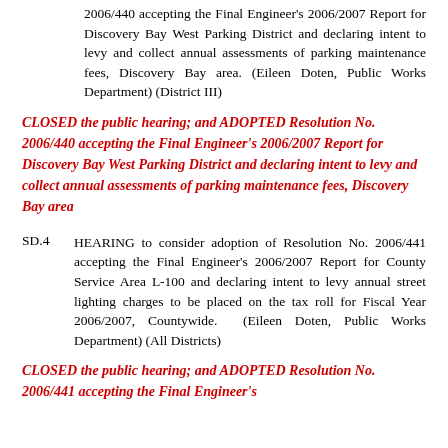2006/440 accepting the Final Engineer's 2006/2007 Report for Discovery Bay West Parking District and declaring intent to levy and collect annual assessments of parking maintenance fees, Discovery Bay area. (Eileen Doten, Public Works Department) (District III)
CLOSED the public hearing; and ADOPTED Resolution No. 2006/440 accepting the Final Engineer's 2006/2007 Report for Discovery Bay West Parking District and declaring intent to levy and collect annual assessments of parking maintenance fees, Discovery Bay area
SD.4   HEARING to consider adoption of Resolution No. 2006/441 accepting the Final Engineer's 2006/2007 Report for County Service Area L-100 and declaring intent to levy annual street lighting charges to be placed on the tax roll for Fiscal Year 2006/2007, Countywide. (Eileen Doten, Public Works Department) (All Districts)
CLOSED the public hearing; and ADOPTED Resolution No. 2006/441 accepting the Final Engineer's